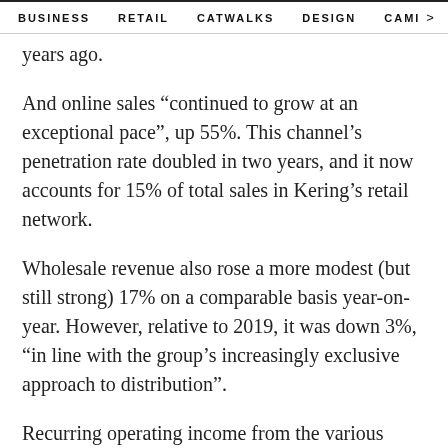BUSINESS  RETAIL  CATWALKS  DESIGN  CAMI  >
years ago.
And online sales “continued to grow at an exceptional pace”, up 55%. This channel’s penetration rate doubled in two years, and it now accounts for 15% of total sales in Kering’s retail network.
Wholesale revenue also rose a more modest (but still strong) 17% on a comparable basis year-on-year. However, relative to 2019, it was down 3%, “in line with the group’s increasingly exclusive approach to distribution”.
Recurring operating income from the various labels was €5.175 billion and the recurring operating margin